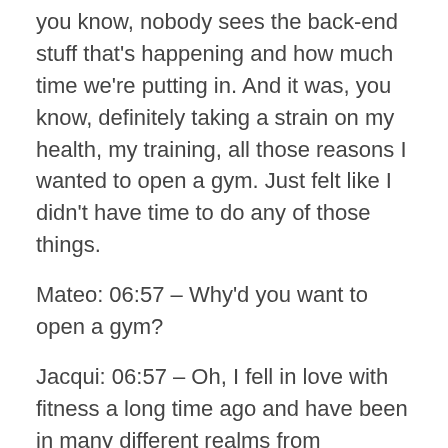you know, nobody sees the back-end stuff that's happening and how much time we're putting in. And it was, you know, definitely taking a strain on my health, my training, all those reasons I wanted to open a gym. Just felt like I didn't have time to do any of those things.
Mateo: 06:57 – Why'd you want to open a gym?
Jacqui: 06:57 – Oh, I fell in love with fitness a long time ago and have been in many different realms from marathons to triathlons. And I started with a boot camp. I was training ladies doing a boot camp and I started doing CrossFit and I fell in love with it and I was just hooked. I was hooked. I walked into a CrossFit gym and people walked up and introduced themselves. It was a family. It was a community. And I was like, this is what's meant to be. So I gave up a corporate job in Toronto to